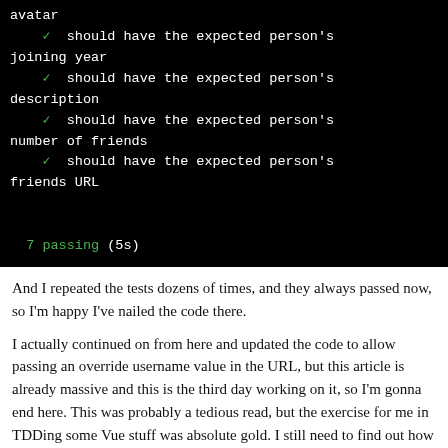[Figure (screenshot): Terminal output showing test results with green checkmarks: avatar, should have the expected person's joining year, should have the expected person's description, should have the expected person's number of friends, should have the expected person's friends URL, and 7 passing (5s)]
And I repeated the tests dozens of times, and they always passed now, so I'm happy I've nailed the code there.
I actually continued on from here and updated the code to allow passing an override username value in the URL, but this article is already massive and this is the third day working on it, so I'm gonna end here. This was probably a tedious read, but the exercise for me in TDDing some Vue stuff was absolute gold. I still need to find out how to separate Vue components out into separate files so